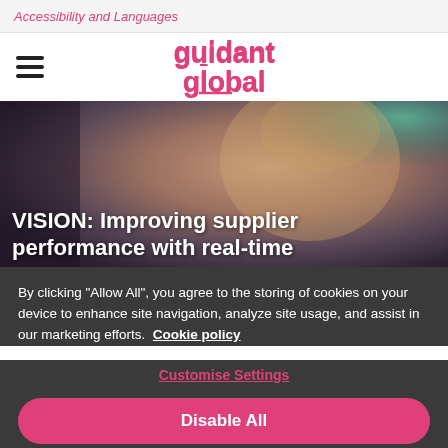Accessibility and Languages
[Figure (logo): Guidant Global logo in pink/magenta with hamburger menu icon on the left]
[Figure (photo): Hero background photo of a smiling woman with blond hair, dark background with teal accent]
VISION: Improving supplier performance with real-time
By clicking "Allow All", you agree to the storing of cookies on your device to enhance site navigation, analyze site usage, and assist in our marketing efforts. Cookie policy
Customise Settings
Disable All